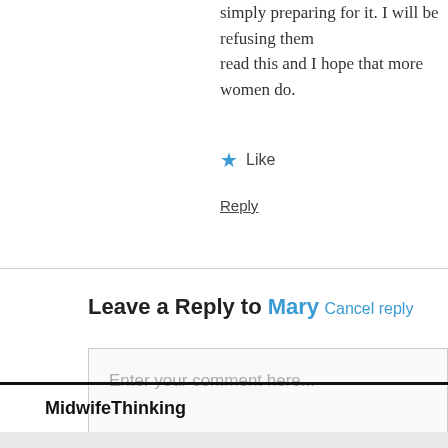simply preparing for it. I will be refusing them read this and I hope that more women do.
★ Like
Reply
Leave a Reply to Mary  Cancel reply
Enter your comment here...
MidwifeThinking